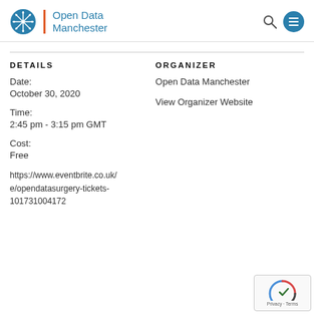Open Data Manchester
DETAILS
Date:
October 30, 2020
Time:
2:45 pm - 3:15 pm GMT
Cost:
Free
https://www.eventbrite.co.uk/e/opendatasurgery-tickets-101731004172
ORGANIZER
Open Data Manchester
View Organizer Website